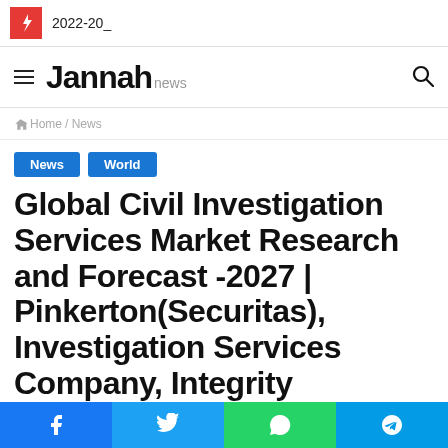2022-20_
Jannah news
Home / News
News
World
Global Civil Investigation Services Market Research and Forecast -2027 | Pinkerton(Securitas), Investigation Services Company, Integrity